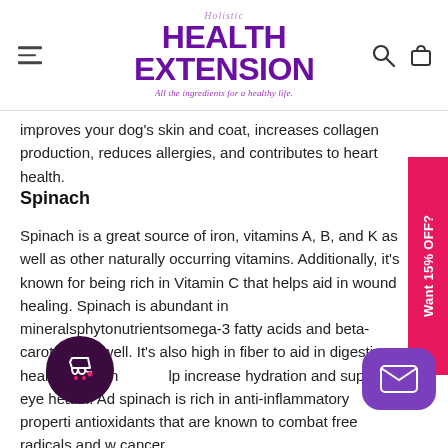[Figure (logo): Holistic Health Extension logo with tagline 'All the ingredients for a healthy life.']
improves your dog’s skin and coat, increases collagen production, reduces allergies, and contributes to heart health.
Spinach
Spinach is a great source of iron, vitamins A, B, and K as well as other naturally occurring vitamins. Additionally, it's known for being rich in Vitamin C that helps aid in wound healing. Spinach is abundant in mineralsphytonutrientsomega-3 fatty acids and beta-carotene as well. It’s also high in fiber to aid in digestive health and can help increase hydration and support eye health. Additionally, spinach is rich in anti-inflammatory properties antioxidants that are known to combat free radicals and ward off cancer.